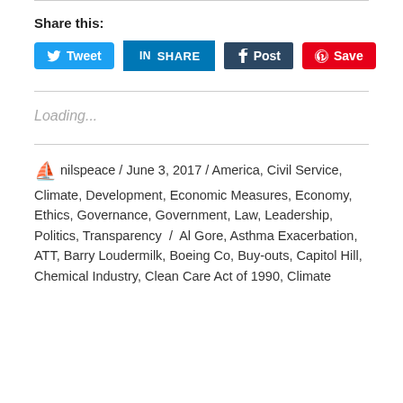Share this:
[Figure (screenshot): Social sharing buttons: Tweet (Twitter/blue), SHARE (LinkedIn/dark blue), Post (Tumblr/dark navy), Save (Pinterest/red)]
Loading...
nilspeace / June 3, 2017 / America, Civil Service, Climate, Development, Economic Measures, Economy, Ethics, Governance, Government, Law, Leadership, Politics, Transparency / Al Gore, Asthma Exacerbation, ATT, Barry Loudermilk, Boeing Co, Buy-outs, Capitol Hill, Chemical Industry, Clean Care Act of 1990, Climate